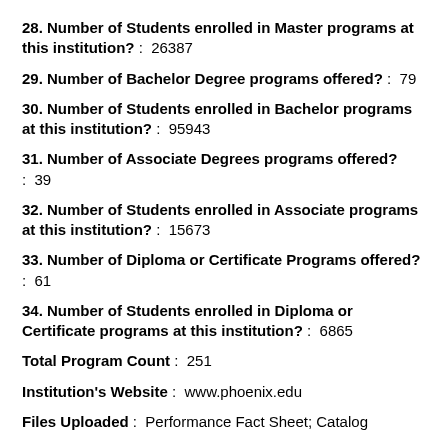28. Number of Students enrolled in Master programs at this institution? :  26387
29. Number of Bachelor Degree programs offered? :  79
30. Number of Students enrolled in Bachelor programs at this institution? :  95943
31. Number of Associate Degrees programs offered? :  39
32. Number of Students enrolled in Associate programs at this institution? :  15673
33. Number of Diploma or Certificate Programs offered? :  61
34. Number of Students enrolled in Diploma or Certificate programs at this institution? :  6865
Total Program Count :  251
Institution's Website :  www.phoenix.edu
Files Uploaded :  Performance Fact Sheet; Catalog